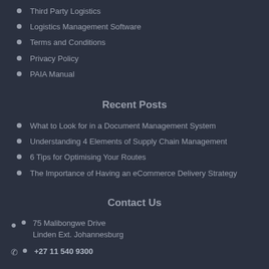Third Party Logistics
Logistics Management Software
Terms and Conditions
Privacy Policy
PAIA Manual
Recent Posts
What to Look for in a Document Management System
Understanding 4 Elements of Supply Chain Management
6 Tips for Optimising Your Routes
The Importance of Having an eCommerce Delivery Strategy
Contact Us
75 Malibongwe Drive Linden Ext. Johannesburg
+27 11 540 9300